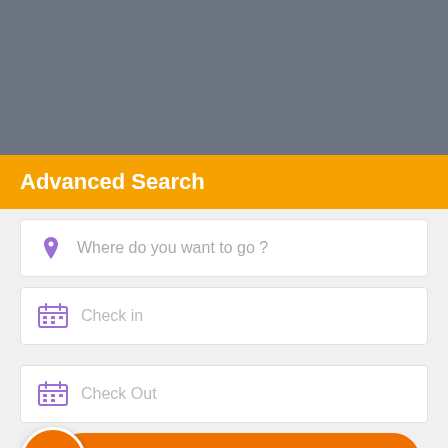[Figure (screenshot): Gray hero image placeholder area at top of page]
Advanced Search
Where do you want to go ?
Check in
Check Out
[Figure (other): Orange INQUIRY button with envelope icon circle on left]
Guests